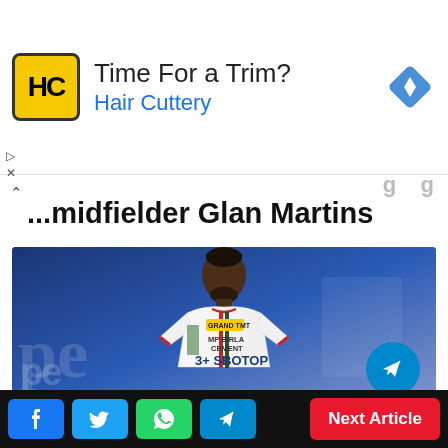[Figure (other): Advertisement banner for Hair Cuttery with logo (HC in yellow circle), text 'Time For a Trim?' and 'Hair Cuttery' in blue, and a blue diamond navigation icon on the right.]
...midfielder Glan Martins
[Figure (photo): Photo of footballer Glan Martins wearing a white jersey with MP Birla Cement and SBOTOP sponsor logos, with a dark blue blurred background. A Telegram share button is overlaid at bottom right.]
Facebook | Twitter | WhatsApp | Telegram | Next Article